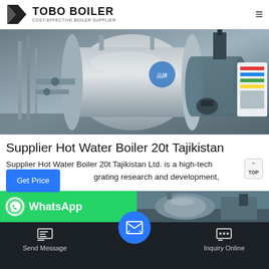TOBO BOILER COST-EFFECTIVE BOILER SUPPLIER
[Figure (photo): Industrial boiler equipment photo showing large cylindrical steam/hot water boilers with pipes and machinery in a factory setting]
Supplier Hot Water Boiler 20t Tajikistan
Supplier Hot Water Boiler 20t Tajikistan Ltd. is a high-tech grating research and development, manufacturing as hot water boilers, gas steam boilers, oil gas boilers, vacuum hot water boilers and. GET A QUOTE …
[Figure (photo): WhatsApp contact panel and boiler image panel at bottom]
Send Message  Inquiry Online